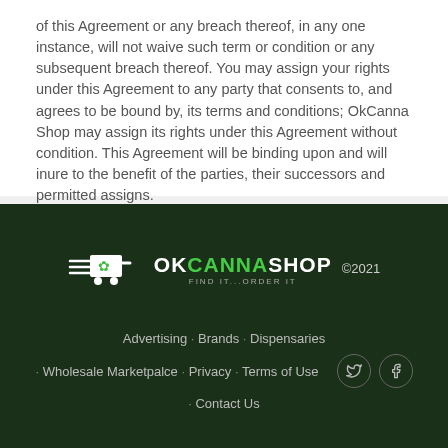of this Agreement or any breach thereof, in any one instance, will not waive such term or condition or any subsequent breach thereof. You may assign your rights under this Agreement to any party that consents to, and agrees to be bound by, its terms and conditions; OkCanna Shop may assign its rights under this Agreement without condition. This Agreement will be binding upon and will inure to the benefit of the parties, their successors and permitted assigns.
[Figure (logo): OkCanna Shop logo with shopping cart and cannabis leaf icon, tagline FIND IT...ORDER IT, copyright 2021]
Advertising · Brands · Dispensaries · Wholesale Marketpalce · Privacy · Terms of Use · Contact Us